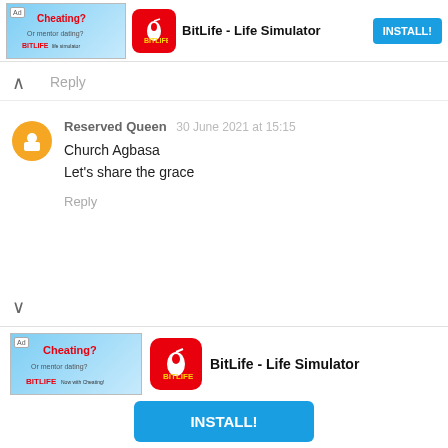[Figure (screenshot): BitLife - Life Simulator advertisement banner at top with install button]
Reply
Reserved Queen 30 June 2021 at 15:15
Church Agbasa
Let's share the grace
Reply
[Figure (screenshot): BitLife - Life Simulator advertisement banner at bottom with INSTALL! button]